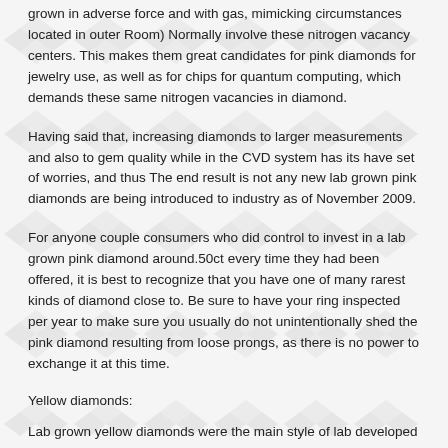grown in adverse force and with gas, mimicking circumstances located in outer Room) Normally involve these nitrogen vacancy centers. This makes them great candidates for pink diamonds for jewelry use, as well as for chips for quantum computing, which demands these same nitrogen vacancies in diamond.
Having said that, increasing diamonds to larger measurements and also to gem quality while in the CVD system has its have set of worries, and thus The end result is not any new lab grown pink diamonds are being introduced to industry as of November 2009.
For anyone couple consumers who did control to invest in a lab grown pink diamond around.50ct every time they had been offered, it is best to recognize that you have one of many rarest kinds of diamond close to. Be sure to have your ring inspected per year to make sure you usually do not unintentionally shed the pink diamond resulting from loose prongs, as there is no power to exchange it at this time.
Yellow diamonds:
Lab grown yellow diamonds were the main style of lab developed